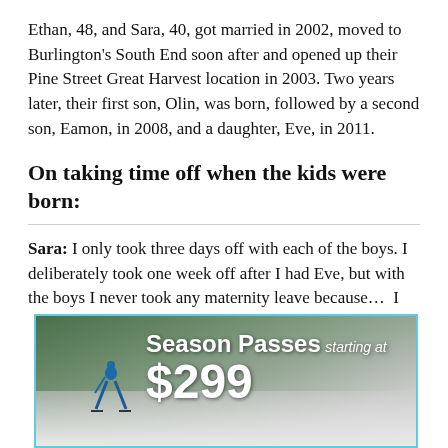Ethan, 48, and Sara, 40, got married in 2002, moved to Burlington's South End soon after and opened up their Pine Street Great Harvest location in 2003. Two years later, their first son, Olin, was born, followed by a second son, Eamon, in 2008, and a daughter, Eve, in 2011.
On taking time off when the kids were born:
Sara: I only took three days off with each of the boys. I deliberately took one week off after I had Eve, but with the boys I never took any maternity leave because... I
[Figure (photo): Advertisement banner for Season Passes starting at $299 featuring a skier on a snowy slope]